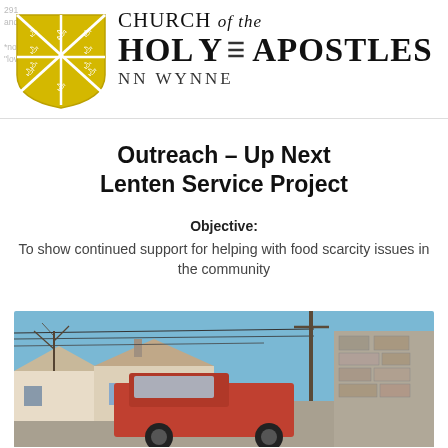Church of the Holy Apostles – Penn Wynne
Outreach – Up Next Lenten Service Project
Objective:
To show continued support for helping with food scarcity issues in the community
[Figure (photo): Outdoor street scene with a red truck and houses in the background, blue sky, taken near a stone building]